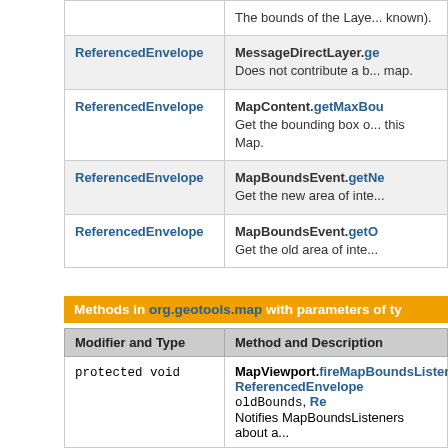| Modifier and Type | Method and Description |
| --- | --- |
| ReferencedEnvelope | MessageDirectLayer.ge...
Does not contribute a b... map. |
| ReferencedEnvelope | MapContent.getMaxBou...
Get the bounding box o... this Map. |
| ReferencedEnvelope | MapBoundsEvent.getNe...
Get the new area of inte... |
| ReferencedEnvelope | MapBoundsEvent.getO...
Get the old area of inte... |
Methods in org.geotools.map with parameters of ty...
| Modifier and Type | Method and Description |
| --- | --- |
| protected void | MapViewport.fireMapBoundsListene... ReferencedEnvelope oldBounds, Re...
Notifies MapBoundsListeners about a... |